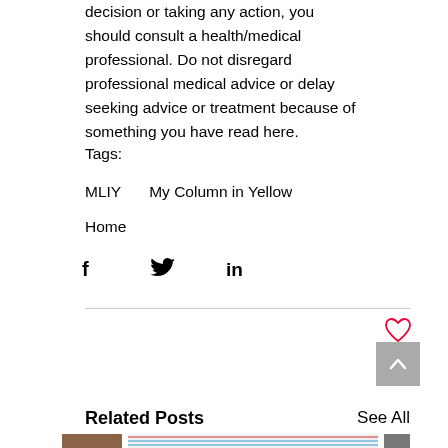decision or taking any action, you should consult a health/medical professional. Do not disregard professional medical advice or delay seeking advice or treatment because of something you have read here.
Tags:
MLIY    My Column in Yellow
Home
[Figure (infographic): Social media sharing icons: Facebook (f), Twitter (bird), LinkedIn (in)]
[Figure (infographic): Heart (like) icon in red outline, and a back-to-top button (grey square with upward chevron)]
Related Posts
See All
[Figure (photo): Three thumbnail images in a row: a reddish-brown textured image on the left, a colorful zigzag striped pattern in the center, and a dark textured image on the right]